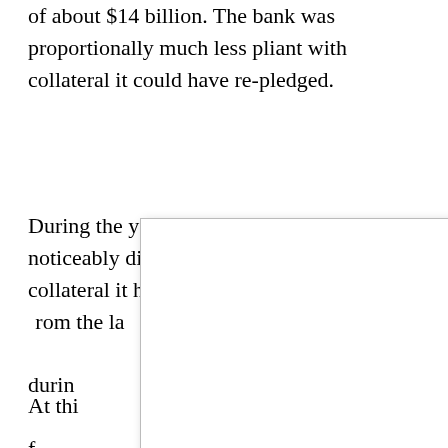of about $14 billion. The bank was proportionally much less pliant with collateral it could have re-pledged.
During the year before, 2017, it had been noticeably different. The amount of reported collateral it had received [obscured by modal] from the last [obscured] however, [obscured] during [obscured] have been [obscured]
At this [obscured] up. What [obscured] his re-ple[obscured]es?